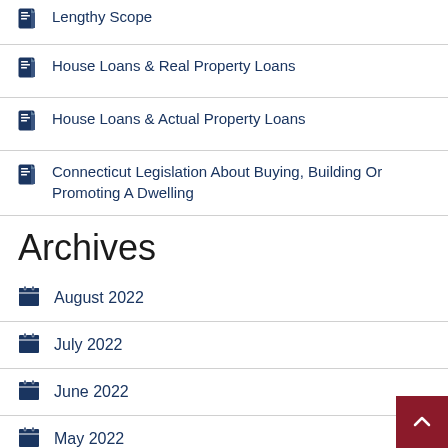Lengthy Scope
House Loans & Real Property Loans
House Loans & Actual Property Loans
Connecticut Legislation About Buying, Building Or Promoting A Dwelling
Archives
August 2022
July 2022
June 2022
May 2022
April 2022